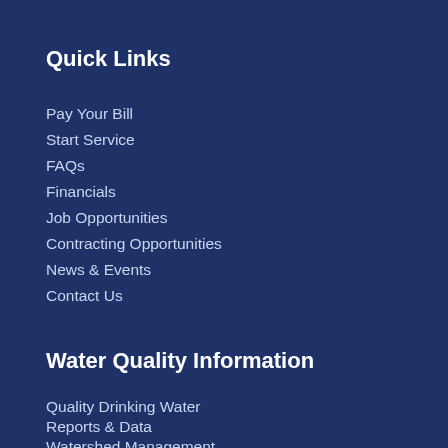Quick Links
Pay Your Bill
Start Service
FAQs
Financials
Job Opportunities
Contracting Opportunities
News & Events
Contact Us
Water Quality Information
Quality Drinking Water
Reports & Data
Watershed Management